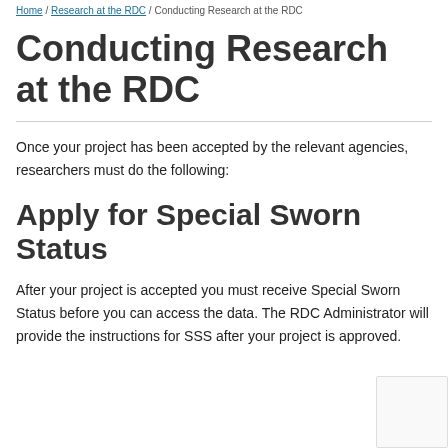Home / Research at the RDC / Conducting Research at the RDC
Conducting Research at the RDC
Once your project has been accepted by the relevant agencies, researchers must do the following:
Apply for Special Sworn Status
After your project is accepted you must receive Special Sworn Status before you can access the data. The RDC Administrator will provide the instructions for SSS after your project is approved.